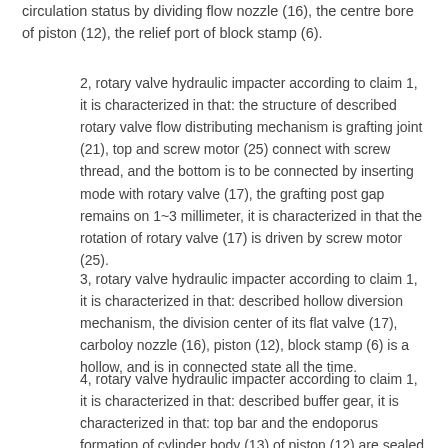circulation status by dividing flow nozzle (16), the centre bore of piston (12), the relief port of block stamp (6).
2, rotary valve hydraulic impacter according to claim 1, it is characterized in that: the structure of described rotary valve flow distributing mechanism is grafting joint (21), top and screw motor (25) connect with screw thread, and the bottom is to be connected by inserting mode with rotary valve (17), the grafting post gap remains on 1~3 millimeter, it is characterized in that the rotation of rotary valve (17) is driven by screw motor (25).
3, rotary valve hydraulic impacter according to claim 1, it is characterized in that: described hollow diversion mechanism, the division center of its flat valve (17), carboloy nozzle (16), piston (12), block stamp (6) is a hollow, and is in connected state all the time.
4, rotary valve hydraulic impacter according to claim 1, it is characterized in that: described buffer gear, it is characterized in that: top bar and the endoporus formation of cylinder body (13) of piston (12) are sealed chamber, form water cushion during work in the cavity and play